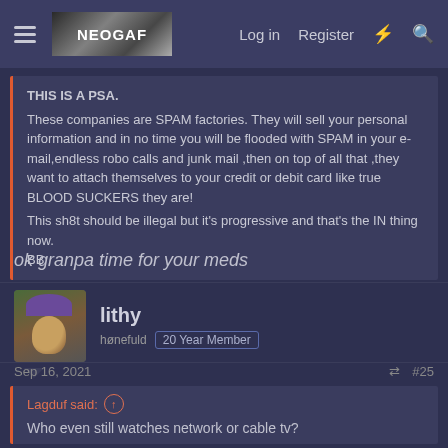NEOGAF.COM — Log in | Register
THIS IS A PSA.
These companies are SPAM factories. They will sell your personal information and in no time you will be flooded with SPAM in your e-mail,endless robo calls and junk mail ,then on top of all that ,they want to attach themselves to your credit or debit card like true BLOOD SUCKERS they are!
This sh8t should be illegal but it's progressive and that's the IN thing now.
BB
ok granpa time for your meds
lithy
hønefuld  20 Year Member
Sep 16, 2021  #25
Lagduf said:
Who even still watches network or cable tv?